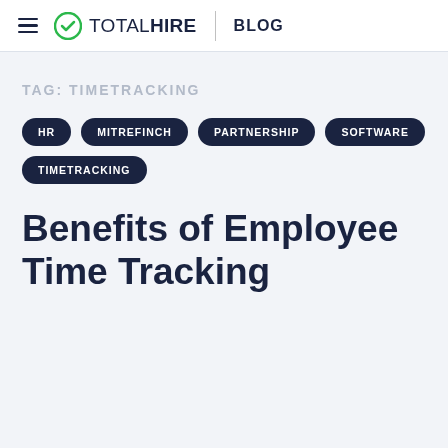TOTALHIRE | BLOG
TAG: TIMETRACKING
HR
MITREFINCH
PARTNERSHIP
SOFTWARE
TIMETRACKING
Benefits of Employee Time Tracking